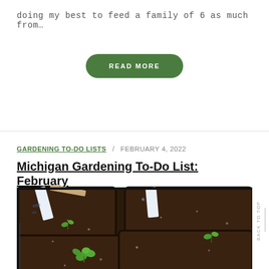doing my best to feed a family of 6 as much from…
READ MORE
GARDENING TO-DO LISTS / FEBRUARY 4, 2022
Michigan Gardening To-Do List: February
[Figure (photo): Seedling tray with small green sprouts emerging from dark soil cells, with plant markers visible in the background]